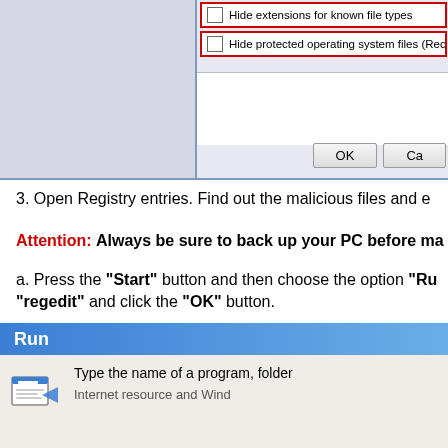[Figure (screenshot): Windows dialog box showing folder options with checkboxes. 'Hide extensions for known file types' (partially visible at top) and 'Hide protected operating system files (Rec...' highlighted with red border. OK and Cancel buttons at bottom.]
3. Open Registry entries. Find out the malicious files and e...
Attention: Always be sure to back up your PC before ma...
a. Press the "Start" button and then choose the option "Ru... "regedit" and click the "OK" button.
[Figure (screenshot): Windows Run dialog box with blue title bar showing 'Run' text and body showing 'Type the name of a program, folder...' with an icon on the left.]